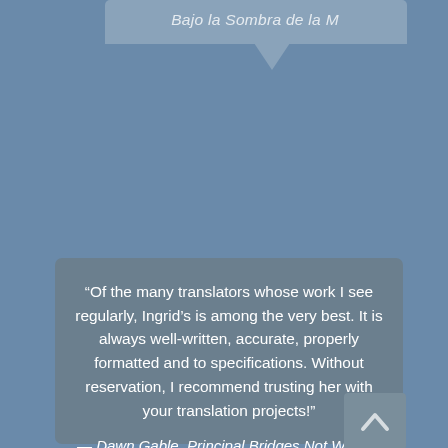Bajo la Sombra de la M
“Of the many translators whose work I see regularly, Ingrid’s is among the very best. It is always well-written, accurate, properly formatted and to specifications. Without reservation, I recommend trusting her with your translation projects!”
— Dawn Gable, Principal Bridges Not Walls Translation